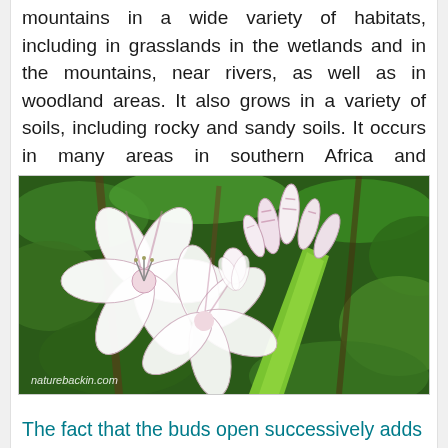mountains in a wide variety of habitats, including in grasslands in the wetlands and in the mountains, near rivers, as well as in woodland areas. It also grows in a variety of soils, including rocky and sandy soils. It occurs in many areas in southern Africa and northwards into East Africa.
[Figure (photo): Close-up photograph of white trumpet-shaped flowers with pink/purple stripes growing on a green stem, with buds at the top, against a green leafy background. Watermark reads 'naturebackin.com'.]
The fact that the buds open successively adds